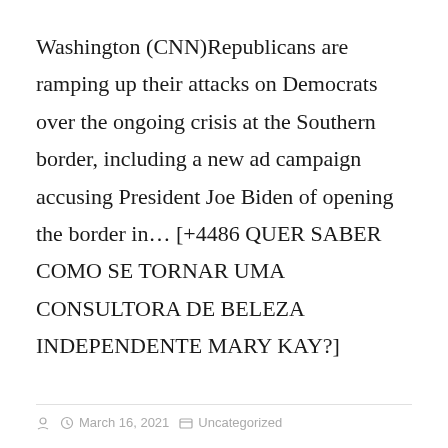Washington (CNN)Republicans are ramping up their attacks on Democrats over the ongoing crisis at the Southern border, including a new ad campaign accusing President Joe Biden of opening the border in… [+4486 QUER SABER COMO SE TORNAR UMA CONSULTORA DE BELEZA INDEPENDENTE MARY KAY?]
March 16, 2021  Uncategorized